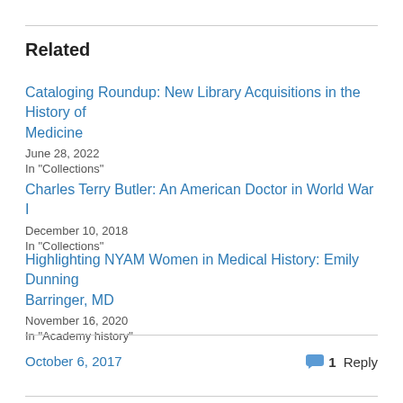Related
Cataloging Roundup: New Library Acquisitions in the History of Medicine
June 28, 2022
In "Collections"
Charles Terry Butler: An American Doctor in World War I
December 10, 2018
In "Collections"
Highlighting NYAM Women in Medical History: Emily Dunning Barringer, MD
November 16, 2020
In "Academy history"
October 6, 2017   1 Reply